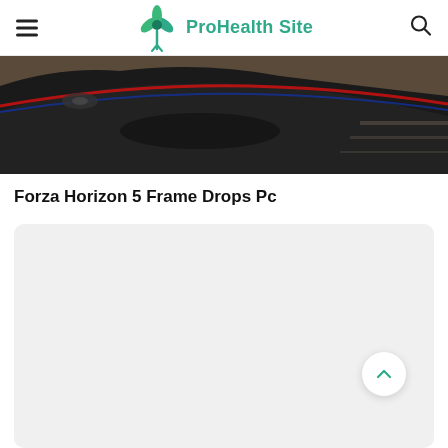ProHealth Site
[Figure (photo): Close-up photo of the front/hood area of a red and black sports car driving on a road with a yellow center line, motion blur effect visible]
Forza Horizon 5 Frame Drops Pc
[Figure (other): Light gray content card placeholder area]